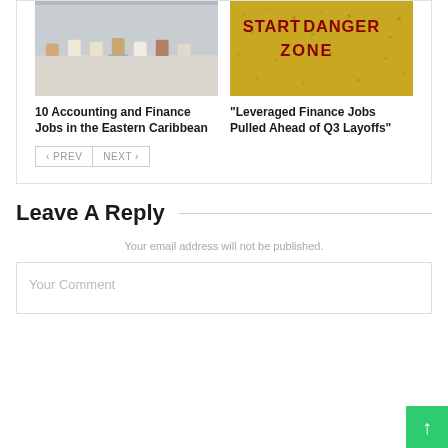[Figure (photo): People sitting in chairs, lower bodies visible, waiting area with light wood floor]
[Figure (photo): Yellow textured sign with red stenciled text reading START DANGER ZONE]
10 Accounting and Finance Jobs in the Eastern Caribbean
“Leveraged Finance Jobs Pulled Ahead of Q3 Layoffs”
< PREV   NEXT >
Leave A Reply
Your email address will not be published.
Your Comment